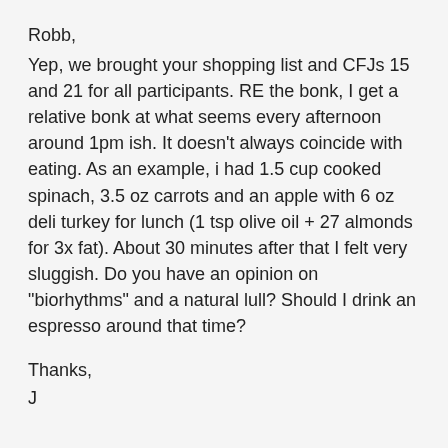Robb,
Yep, we brought your shopping list and CFJs 15 and 21 for all participants.
RE the bonk, I get a relative bonk at what seems every afternoon around 1pm ish. It doesn’t always coincide with eating. As an example, i had 1.5 cup cooked spinach, 3.5 oz carrots and an apple with 6 oz deli turkey for lunch (1 tsp olive oil + 27 almonds for 3x fat). About 30 minutes after that I felt very sluggish. Do you have an opinion on “biorhythms” and a natural lull? Should I drink an espresso around that time?
Thanks,
J